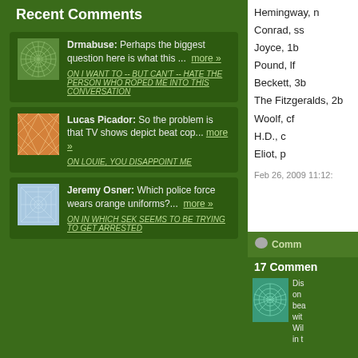Recent Comments
Drmabuse: Perhaps the biggest question here is what this ... more »
ON I WANT TO -- BUT CAN'T -- HATE THE PERSON WHO ROPED ME INTO THIS CONVERSATION
Lucas Picador: So the problem is that TV shows depict beat cop... more »
ON LOUIE, YOU DISAPPOINT ME
Jeremy Osner: Which police force wears orange uniforms?... more »
ON IN WHICH SEK SEEMS TO BE TRYING TO GET ARRESTED
Hemingway, n
Conrad, ss
Joyce, 1b
Pound, lf
Beckett, 3b
The Fitzgeralds, 2b
Woolf, cf
H.D., c
Eliot, p
Feb 26, 2009 11:12:
17 Comments
Dis on bea with Wil in t